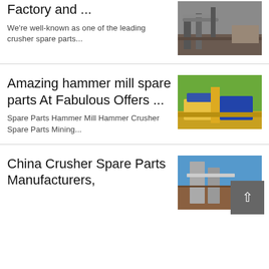Factory and ...
We're well-known as one of the leading crusher spare parts...
[Figure (photo): Industrial crusher/conveyor equipment at a quarry or mining site]
Amazing hammer mill spare parts At Fabulous Offers ...
Spare Parts Hammer Mill Hammer Crusher Spare Parts Mining...
[Figure (photo): Yellow and blue industrial crushing/screening equipment in a field]
China Crusher Spare Parts Manufacturers,
[Figure (photo): Crusher spare parts industrial equipment, blue sky background]